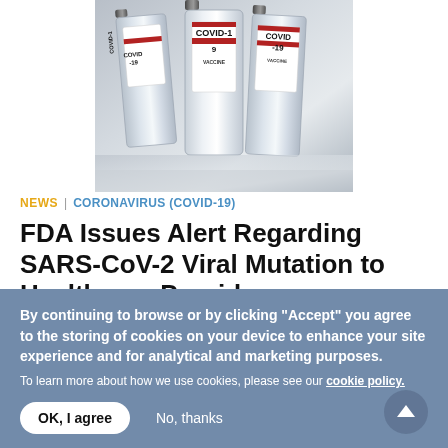[Figure (photo): COVID-19 vaccine vials lined up, labeled with COVID-19 VACCINE text and red stripes]
NEWS | CORONAVIRUS (COVID-19)
FDA Issues Alert Regarding SARS-CoV-2 Viral Mutation to Healthcare Providers
January 8, 2021 — The U.S. Food and Drug Administration is alerting clinical laboratory staff and healthcare providers ...
By continuing to browse or by clicking "Accept" you agree to the storing of cookies on your device to enhance your site experience and for analytical and marketing purposes.
To learn more about how we use cookies, please see our cookie policy.
OK, I agree
No, thanks